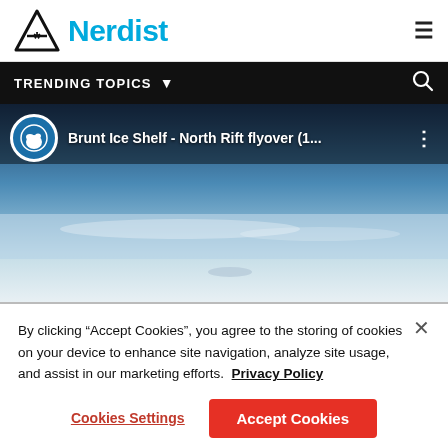Nerdist
[Figure (screenshot): Nerdist website header with triangle/asterisk logo, blue 'Nerdist' text, and hamburger menu icon on the right]
[Figure (screenshot): Black navigation bar with 'TRENDING TOPICS' and dropdown arrow on left, search icon on right]
[Figure (screenshot): YouTube video embed showing 'Brunt Ice Shelf - North Rift flyover (1...' with Antarctica channel icon, aerial blue sky and ice shelf photograph]
By clicking “Accept Cookies”, you agree to the storing of cookies on your device to enhance site navigation, analyze site usage, and assist in our marketing efforts.  Privacy Policy
Cookies Settings
Accept Cookies